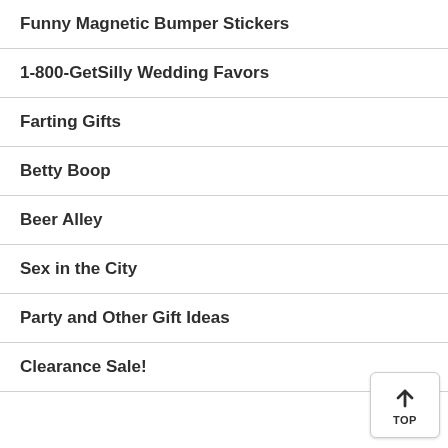Funny Magnetic Bumper Stickers
1-800-GetSilly Wedding Favors
Farting Gifts
Betty Boop
Beer Alley
Sex in the City
Party and Other Gift Ideas
Clearance Sale!